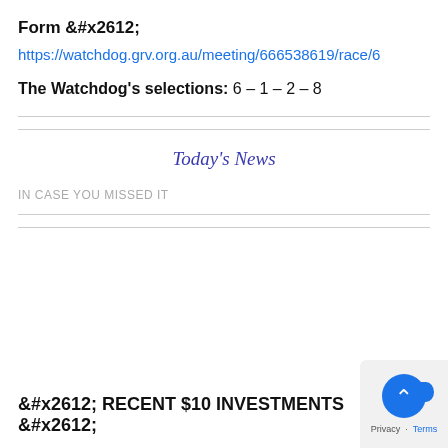Form ☒
https://watchdog.grv.org.au/meeting/666538619/race/6
The Watchdog's selections: 6 – 1 – 2 – 8
Today's News
IN CASE YOU MISSED IT
☒ RECENT $10 INVESTMENTS ☒